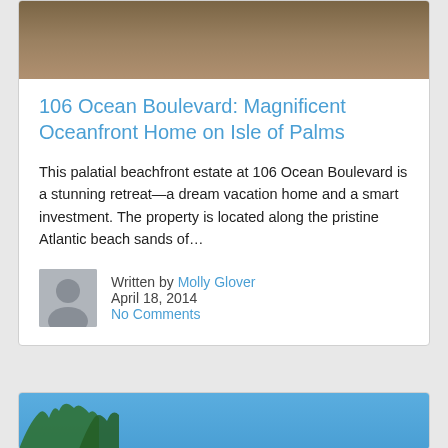[Figure (photo): Top portion of a beachfront/sandy area photo, cropped at top]
106 Ocean Boulevard: Magnificent Oceanfront Home on Isle of Palms
This palatial beachfront estate at 106 Ocean Boulevard is a stunning retreat—a dream vacation home and a smart investment. The property is located along the pristine Atlantic beach sands of…
Written by Molly Glover
April 18, 2014
No Comments
[Figure (photo): Bottom of page showing the top of a second card with blue sky and palm tree tops]